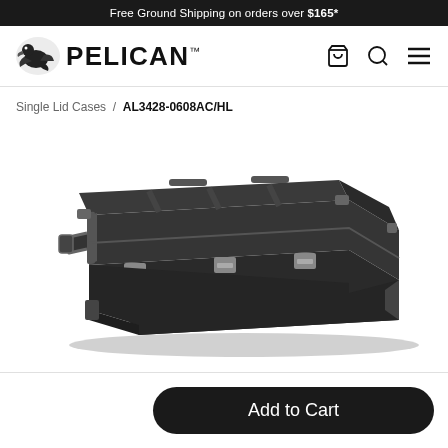Free Ground Shipping on orders over $165*
[Figure (logo): Pelican brand logo with pelican bird icon and PELICAN text]
Single Lid Cases / AL3428-0608AC/HL
[Figure (photo): Pelican AL3428-0608AC/HL single lid protective case, black, shown at 3/4 angle with latches and handles visible]
Add to Cart